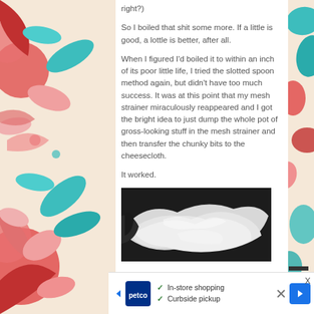right?)
So I boiled that shit some more. If a little is good, a lottle is better, after all.
When I figured I'd boiled it to within an inch of its poor little life, I tried the slotted spoon method again, but didn't have too much success. It was at this point that my mesh strainer miraculously reappeared and I got the bright idea to just dump the whole pot of gross-looking stuff in the mesh strainer and then transfer the chunky bits to the cheesecloth.
It worked.
[Figure (photo): Photo of white cheesecloth with chunky material visible against dark background]
[Figure (other): Advertisement banner: Petco - In-store shopping, Curbside pickup]